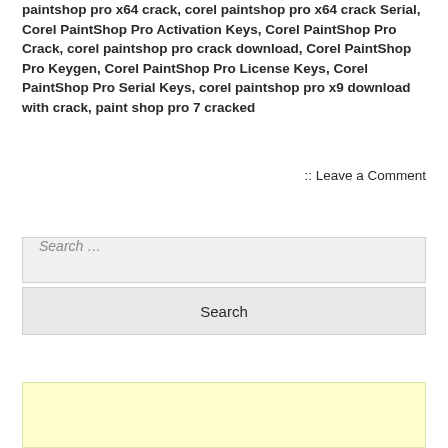paintshop pro x64 crack, corel paintshop pro x64 crack Serial, Corel PaintShop Pro Activation Keys, Corel PaintShop Pro Crack, corel paintshop pro crack download, Corel PaintShop Pro Keygen, Corel PaintShop Pro License Keys, Corel PaintShop Pro Serial Keys, corel paintshop pro x9 download with crack, paint shop pro 7 cracked
:: Leave a Comment
[Figure (screenshot): Search input field with placeholder text 'Search ...' and a Search button below it]
[Figure (other): Yellow/cream colored advertisement or content box at the bottom of the page]